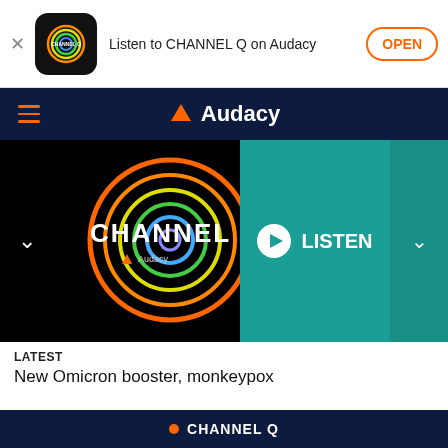[Figure (screenshot): Audacy app banner with Channel Q icon, text 'Listen to CHANNEL Q on Audacy', and OPEN button]
Audacy navigation bar with hamburger menu and Audacy logo
[Figure (screenshot): Channel Q hero image with colorful circular logo, CHANNEL Q text, LISTEN button and chevron]
LATEST
New Omicron booster, monkeypox
[Figure (screenshot): Dark navy bottom section with CHANNEL Q label with orange dot and orange play button circle]